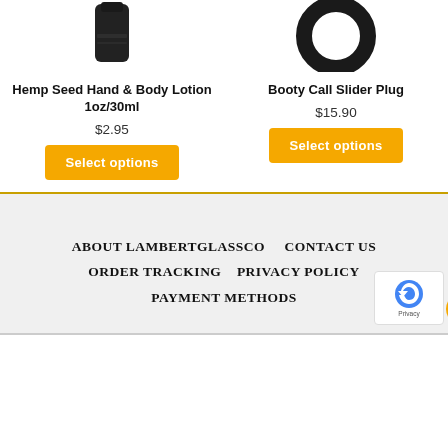[Figure (photo): Product image of Hemp Seed Hand & Body Lotion 1oz/30ml, dark cylindrical container]
[Figure (photo): Product image of Booty Call Slider Plug, black circular ring shape]
Hemp Seed Hand & Body Lotion 1oz/30ml
$2.95
Select options
Booty Call Slider Plug
$15.90
Select options
ABOUT LAMBERTGLASSCO   CONTACT US   ORDER TRACKING   PRIVACY POLICY   PAYMENT METHODS